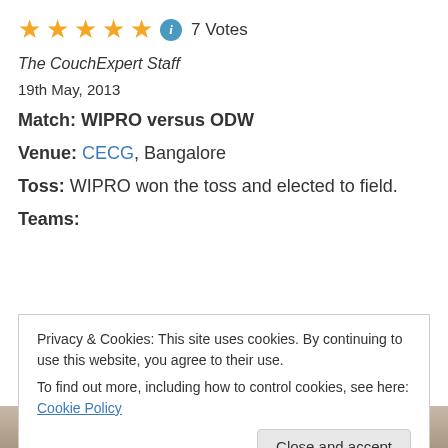[Figure (other): Five gold star rating icons followed by a blue info circle icon and '7 Votes' text]
The CouchExpert Staff
19th May, 2013
Match: WIPRO versus ODW
Venue: CECG, Bangalore
Toss: WIPRO won the toss and elected to field.
Teams:
Privacy & Cookies: This site uses cookies. By continuing to use this website, you agree to their use.
To find out more, including how to control cookies, see here: Cookie Policy
[Figure (photo): Partial photo strip showing people in white clothing at bottom of page]